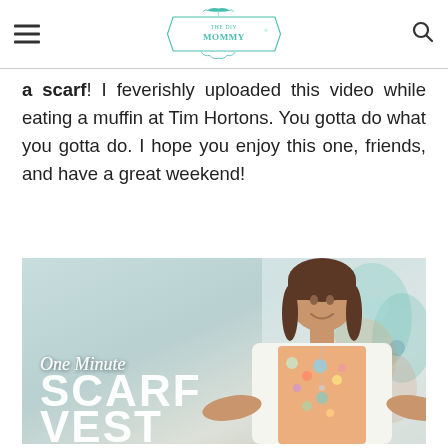THE DIY MOMMY (logo)
a scarf! I feverishly uploaded this video while eating a muffin at Tim Hortons. You gotta do what you gotta do. I hope you enjoy this one, friends, and have a great weekend!
[Figure (photo): Video thumbnail showing a woman wearing a floral scarf vest, with text overlay reading 'One Minute SCARF VEST']